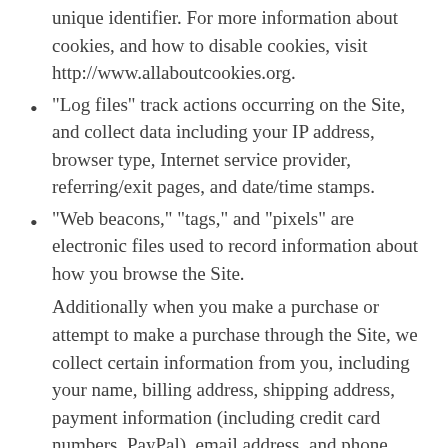unique identifier. For more information about cookies, and how to disable cookies, visit http://www.allaboutcookies.org.
“Log files” track actions occurring on the Site, and collect data including your IP address, browser type, Internet service provider, referring/exit pages, and date/time stamps.
“Web beacons,” “tags,” and “pixels” are electronic files used to record information about how you browse the Site.
Additionally when you make a purchase or attempt to make a purchase through the Site, we collect certain information from you, including your name, billing address, shipping address, payment information (including credit card numbers, PayPal), email address, and phone number.  We refer to this information as “Order Information.”